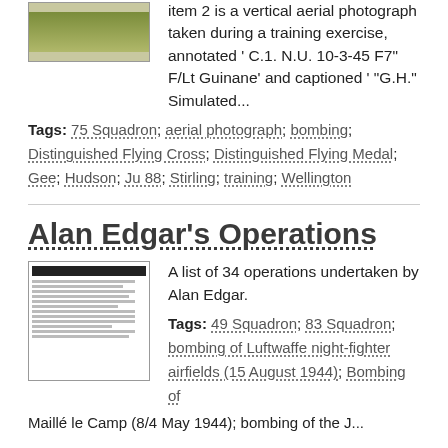[Figure (photo): Aerial photograph thumbnail with green/landscape tones]
Item 2 is a vertical aerial photograph taken during a training exercise, annotated ' C.1. N.U. 10-3-45 F7" F/Lt Guinane' and captioned ' "G.H." Simulated...
Tags: 75 Squadron; aerial photograph; bombing; Distinguished Flying Cross; Distinguished Flying Medal; Gee; Hudson; Ju 88; Stirling; training; Wellington
Alan Edgar's Operations
[Figure (screenshot): Thumbnail of a document/list with black header bar and text lines]
A list of 34 operations undertaken by Alan Edgar.
Tags: 49 Squadron; 83 Squadron; bombing of Luftwaffe night-fighter airfields (15 August 1944); Bombing of Maillé le Camp (8/4 May 1944); bombing of the Juvisy...